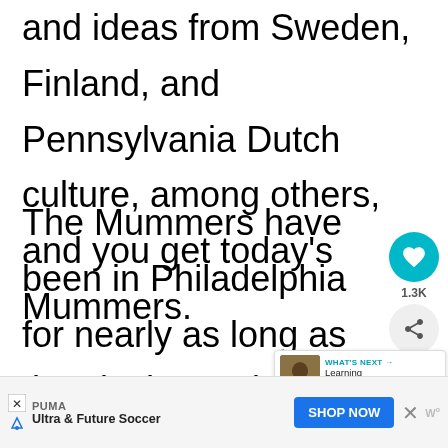and ideas from Sweden, Finland, and Pennsylvania Dutch culture, among others, and you get today's Mummers.
The Mummers have been in Philadelphia for nearly as long as the city has existed, dating back to the 18th century. However, the parade that has become a Philadelphia tradition dates back to 1901. makes it America's oldest folk parade.
[Figure (infographic): Social action buttons: heart/like button (teal circle with heart icon), like count 1.3K, share button (grey circle with share icon)]
[Figure (infographic): What's Next panel showing a thumbnail image and text 'Learning About Philly'...']
[Figure (infographic): Advertisement banner: PUMA Ultra & Future Soccer with SHOP NOW button]